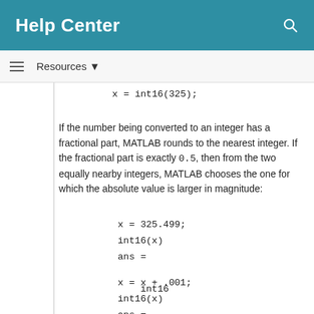Help Center
Resources ▼
If the number being converted to an integer has a fractional part, MATLAB rounds to the nearest integer. If the fractional part is exactly 0.5, then from the two equally nearby integers, MATLAB chooses the one for which the absolute value is larger in magnitude: